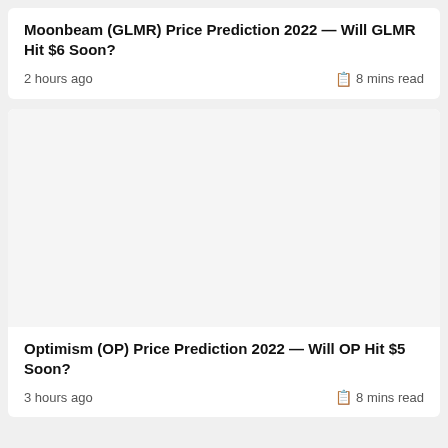Moonbeam (GLMR) Price Prediction 2022 — Will GLMR Hit $6 Soon?
2 hours ago · 8 mins read
[Figure (photo): Blank/white article thumbnail image for Optimism OP Price Prediction article]
Optimism (OP) Price Prediction 2022 — Will OP Hit $5 Soon?
3 hours ago · 8 mins read